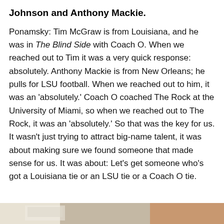Johnson and Anthony Mackie.
Ponamsky: Tim McGraw is from Louisiana, and he was in The Blind Side with Coach O. When we reached out to Tim it was a very quick response: absolutely. Anthony Mackie is from New Orleans; he pulls for LSU football. When we reached out to him, it was an 'absolutely.' Coach O coached The Rock at the University of Miami, so when we reached out to The Rock, it was an 'absolutely.' So that was the key for us. It wasn't just trying to attract big-name talent, it was about making sure we found someone that made sense for us. It was about: Let's get someone who's got a Louisiana tie or an LSU tie or a Coach O tie.
[Figure (photo): Partial view of a photograph at the bottom of the page, showing what appears to be an indoor scene.]